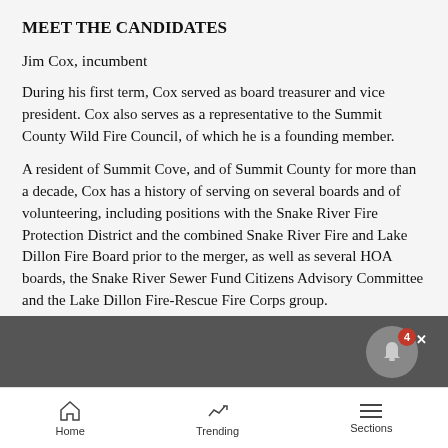MEET THE CANDIDATES
Jim Cox, incumbent
During his first term, Cox served as board treasurer and vice president. Cox also serves as a representative to the Summit County Wild Fire Council, of which he is a founding member.
A resident of Summit Cove, and of Summit County for more than a decade, Cox has a history of serving on several boards and of volunteering, including positions with the Snake River Fire Protection District and the combined Snake River Fire and Lake Dillon Fire Board prior to the merger, as well as several HOA boards, the Snake River Sewer Fund Citizens Advisory Committee and the Lake Dillon Fire-Rescue Fire Corps group.
Home   Trending   Sections